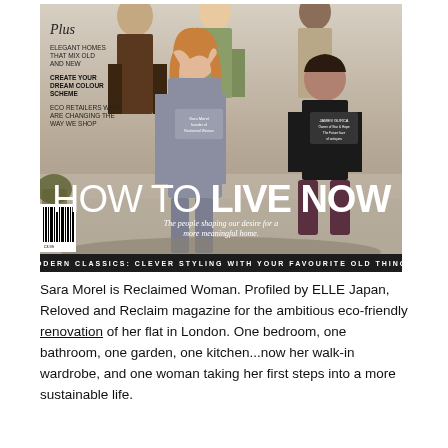[Figure (photo): Magazine cover showing multiple people in a home setting. Cover text reads: Plus, ELEGANT HOMES THAT MIX OLD AND NEW, CREATE YOUR DREAM COLOUR SCHEME, ECO RETAILERS WHO ARE CHANGING THE WAY WE SHOP. Large title: HOW TO LIVE NOW. Subtitle: The people shaping our desire for a more meaningful home. Bottom bar: MODERN CLASSICS: CLEVER STYLING WITH YOUR FAVOURITE OLD THINGS.]
Sara Morel is Reclaimed Woman. Profiled by ELLE Japan, Reloved and Reclaim magazine for the ambitious eco-friendly renovation of her flat in London. One bedroom, one bathroom, one garden, one kitchen...now her walk-in wardrobe, and one woman taking her first steps into a more sustainable life.